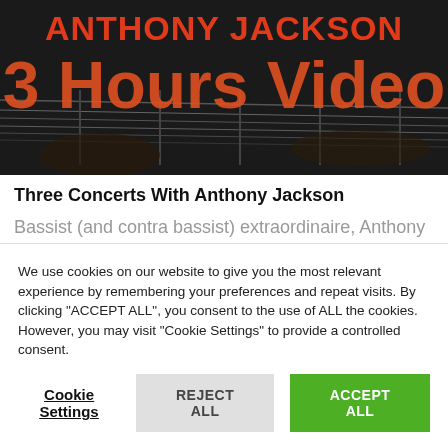[Figure (photo): Dark banner image showing a guitar with large bold red text 'ANTHONY JACKSON' on top and '3 Hours Video' in large orange-red letters below, overlaid on a dark background with guitar strings visible.]
Three Concerts With Anthony Jackson
Bassist (and contra bassist) extraordinaire, Anthony Jackson, who turns 69 today - Happy Birthday - has been for almost 50 years a "top session bassist".Very much in demand, Anthony has played on numerous albums and behind the greatest...
We use cookies on our website to give you the most relevant experience by remembering your preferences and repeat visits. By clicking "ACCEPT ALL", you consent to the use of ALL the cookies. However, you may visit "Cookie Settings" to provide a controlled consent.